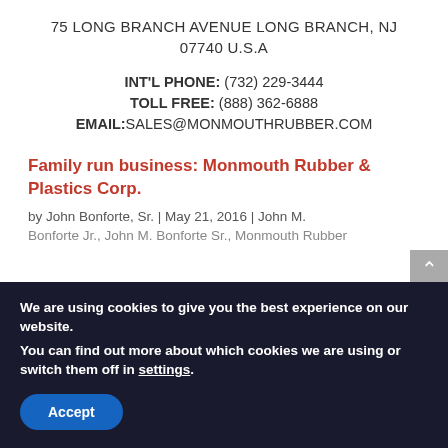75 LONG BRANCH AVENUE LONG BRANCH, NJ
07740 U.S.A
INT'L PHONE: (732) 229-3444
TOLL FREE: (888) 362-6888
EMAIL:SALES@MONMOUTHRUBBER.COM
Family run business: Monmouth Rubber & Plastics Corp.
by John Bonforte, Sr. | May 21, 2016 | John M.
Bonforte Jr., John M. Bonforte Sr., Monmouth Rubber
We are using cookies to give you the best experience on our website.
You can find out more about which cookies we are using or switch them off in settings.
Accept